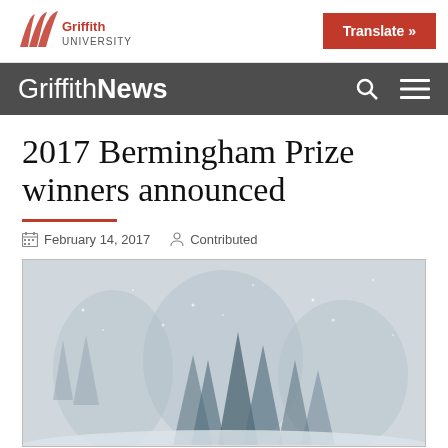Griffith University | Translate »
Griffith News
2017 Bermingham Prize winners announced
February 14, 2017   Contributed
[Figure (photo): A misty winter scene with snow-covered conifer trees in fog, appearing to be a photograph used as the article header image.]